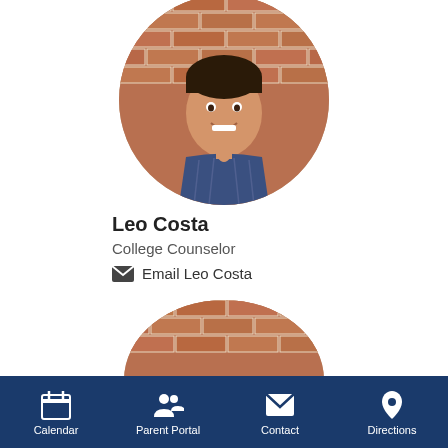[Figure (photo): Circular profile photo of Leo Costa, a young man smiling, wearing a blue plaid shirt, in front of a brick wall background]
Leo Costa
College Counselor
Email Leo Costa
[Figure (photo): Partial circular profile photo of a second person, showing top of head with dark hair against a brick wall background]
Calendar   Parent Portal   Contact   Directions